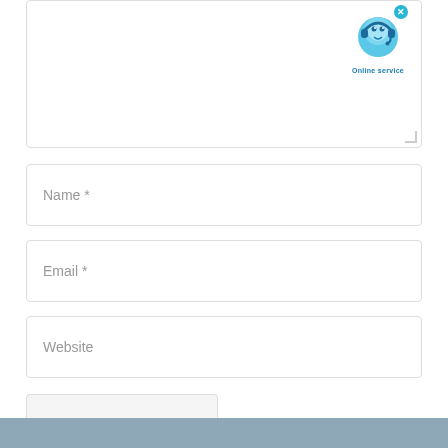[Figure (screenshot): Online service chat widget icon with blue character wearing headset and a cyan close button, labeled 'Online service' below]
Name *
Email *
Website
Post Comment